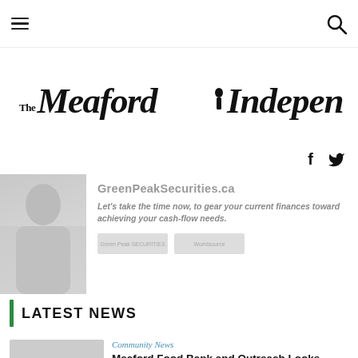The Meaford Independent
[Figure (logo): The Meaford Independent newspaper logo in blackletter/gothic font with a small illustrated figure]
[Figure (illustration): GreenPeakSecurities.ca advertisement banner with person photo, tagline 'Let's take the time now, to gear your current finances toward achieving your cash-flow needs.' and Green Peak Securities and Worldsource logos]
LATEST NEWS
Community News
Meaford Food Bank and Outreach Looks